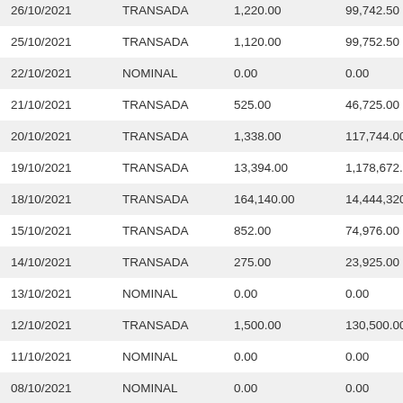| Date | Type | Amount | Total |
| --- | --- | --- | --- |
| 26/10/2021 | TRANSADA | 1,220.00 | 99,742.50 |
| 25/10/2021 | TRANSADA | 1,120.00 | 99,752.50 |
| 22/10/2021 | NOMINAL | 0.00 | 0.00 |
| 21/10/2021 | TRANSADA | 525.00 | 46,725.00 |
| 20/10/2021 | TRANSADA | 1,338.00 | 117,744.00 |
| 19/10/2021 | TRANSADA | 13,394.00 | 1,178,672.00 |
| 18/10/2021 | TRANSADA | 164,140.00 | 14,444,320.0 |
| 15/10/2021 | TRANSADA | 852.00 | 74,976.00 |
| 14/10/2021 | TRANSADA | 275.00 | 23,925.00 |
| 13/10/2021 | NOMINAL | 0.00 | 0.00 |
| 12/10/2021 | TRANSADA | 1,500.00 | 130,500.00 |
| 11/10/2021 | NOMINAL | 0.00 | 0.00 |
| 08/10/2021 | NOMINAL | 0.00 | 0.00 |
| 07/10/2021 | TRANSADA | 1,000.00 | 87,000.00 |
| 06/10/2021 | NOMINAL | 0.00 | 0.00 |
| 05/10/2021 | TRANSADA | 485.00 | 42,195.00 |